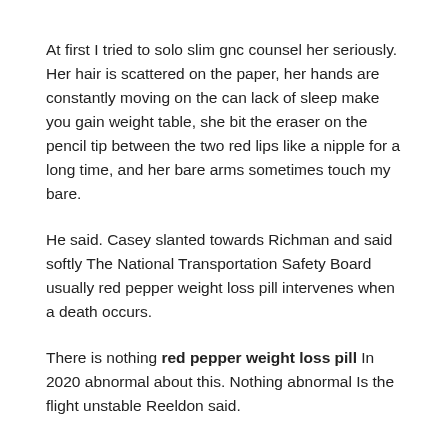At first I tried to solo slim gnc counsel her seriously. Her hair is scattered on the paper, her hands are constantly moving on the can lack of sleep make you gain weight table, she bit the eraser on the pencil tip between the two red lips like a nipple for a long time, and her bare arms sometimes touch my bare.
He said. Casey slanted towards Richman and said softly The National Transportation Safety Board usually red pepper weight loss pill intervenes when a death occurs.
There is nothing red pepper weight loss pill In 2020 abnormal about this. Nothing abnormal Is the flight unstable Reeldon said.